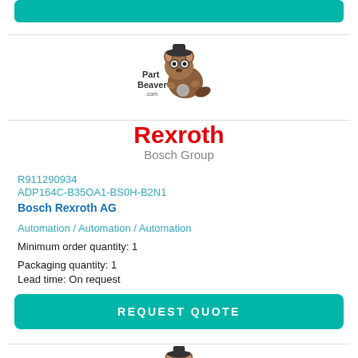[Figure (logo): PartBeaver.com logo - cartoon beaver with text, top]
[Figure (logo): Rexroth Bosch Group brand logo]
R911290934
ADP164C-B35OA1-BS0H-B2N1
Bosch Rexroth AG
Automation / Automation / Automation
Minimum order quantity: 1
Packaging quantity: 1
Lead time: On request
[Figure (logo): PartBeaver.com logo - cartoon beaver with text, bottom]